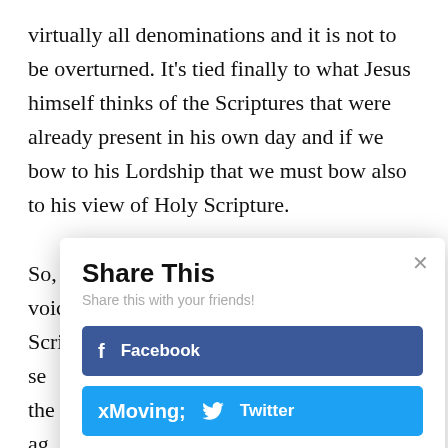virtually all denominations and it is not to be overturned. It's tied finally to what Jesus himself thinks of the Scriptures that were already present in his own day and if we bow to his Lordship that we must bow also to his view of Holy Scripture.

So, why now? In every generation there are voices that question the authority of Scripture. So in one sense... but the... d again...

ge... r edi... He... this ... ut
[Figure (screenshot): A 'Share This' modal dialog overlay with title 'Share This', subtitle 'Share this with your friends!', a Facebook button (dark blue), and a Twitter button (light blue). A close (×) button appears in the top right corner.]